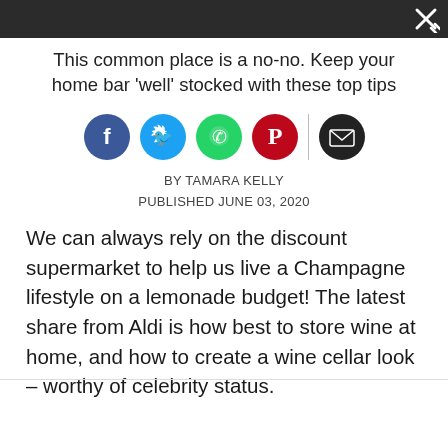This common place is a no-no. Keep your home bar 'well' stocked with these top tips
[Figure (infographic): Social media share icons: Facebook (blue circle), Twitter (light blue circle), WhatsApp (green circle), Pinterest (red circle), divider line, Email (black circle)]
BY TAMARA KELLY
PUBLISHED JUNE 03, 2020
We can always rely on the discount supermarket to help us live a Champagne lifestyle on a lemonade budget! The latest share from Aldi is how best to store wine at home, and how to create a wine cellar look – worthy of celebrity status.